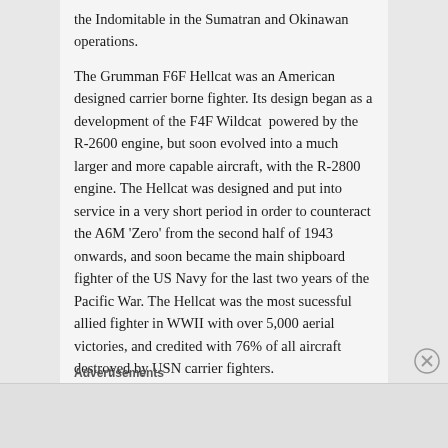the Indomitable in the Sumatran and Okinawan operations.
The Grumman F6F Hellcat was an American designed carrier borne fighter. Its design began as a development of the F4F Wildcat powered by the R-2600 engine, but soon evolved into a much larger and more capable aircraft, with the R-2800 engine. The Hellcat was designed and put into service in a very short period in order to counteract the A6M 'Zero' from the second half of 1943 onwards, and soon became the main shipboard fighter of the US Navy for the last two years of the Pacific War. The Hellcat was the most sucessful allied fighter in WWII with over 5,000 aerial victories, and credited with 76% of all aircraft destroyed by USN carrier fighters.
Advertisements